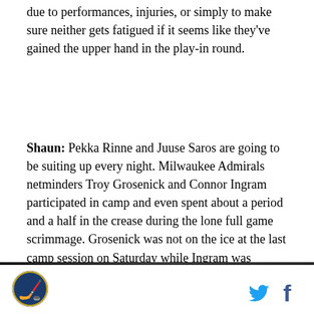due to performances, injuries, or simply to make sure neither gets fatigued if it seems like they've gained the upper hand in the play-in round.
Shaun: Pekka Rinne and Juuse Saros are going to be suiting up every night. Milwaukee Admirals netminders Troy Grosenick and Connor Ingram participated in camp and even spent about a period and a half in the crease during the lone full game scrimmage. Grosenick was not on the ice at the last camp session on Saturday while Ingram was present. It was announced that Ingram would be the third goalie traveling with the team.
[Figure (photo): Partial view of a dark/crowd photo strip at the bottom of the article]
Logo and social media icons (Twitter, Facebook)